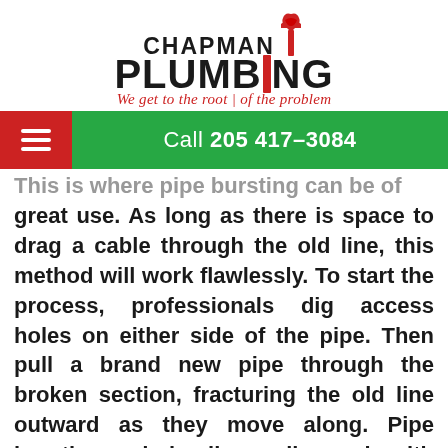[Figure (logo): Chapman Plumbing logo with wrench/pipe icon and tagline 'We get to the root of the problem']
Call 205 417-3084
This is where pipe bursting can be of great use. As long as there is space to drag a cable through the old line, this method will work flawlessly. To start the process, professionals dig access holes on either side of the pipe. Then pull a brand new pipe through the broken section, fracturing the old line outward as they move along. Pipe bursting and pipe liners all comply with industry requirements and are considered by